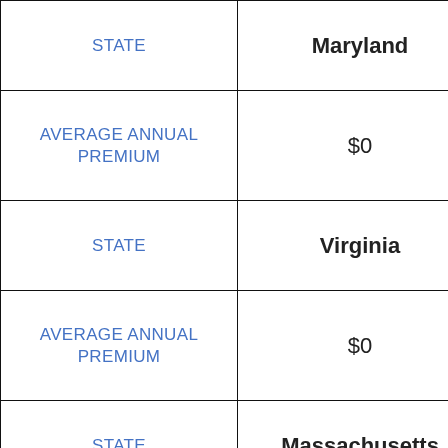| Field | Value |
| --- | --- |
| STATE | Maryland |
| AVERAGE ANNUAL PREMIUM | $0 |
| STATE | Virginia |
| AVERAGE ANNUAL PREMIUM | $0 |
| STATE | Massachusetts |
| AVERAGE ANNUAL PREMIUM |  |